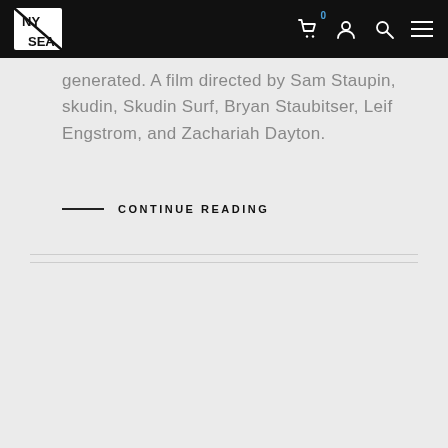NYSEA logo and navigation icons
generated. A film directed by Sam Staupin, skudin, Skudin Surf, Bryan Staubitser, Leif Engstrom, and Zachariah Dayton.
CONTINUE READING